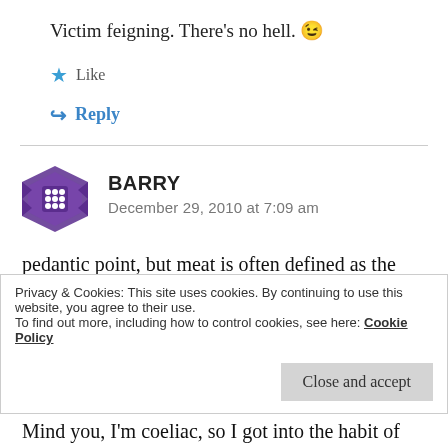Victim feigning. There's no hell. 😉
★ Like
↳ Reply
BARRY
December 29, 2010 at 7:09 am
pedantic point, but meat is often defined as the flesh of _mammals_ to the exclusion of fish and poultry. I used to say 'animal products' when I was
Privacy & Cookies: This site uses cookies. By continuing to use this website, you agree to their use.
To find out more, including how to control cookies, see here: Cookie Policy
Close and accept
Mind you, I'm coeliac, so I got into the habit of